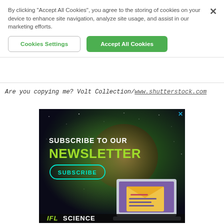By clicking “Accept All Cookies”, you agree to the storing of cookies on your device to enhance site navigation, analyze site usage, and assist in our marketing efforts.
Cookies Settings
Accept All Cookies
Are you copying me? Volt Collection/www.shutterstock.com
[Figure (illustration): Newsletter subscription advertisement with dark space background, showing a laptop with an email/envelope graphic, text SUBSCRIBE TO OUR NEWSLETTER, a SUBSCRIBE button, and IFLScience logo at the bottom]